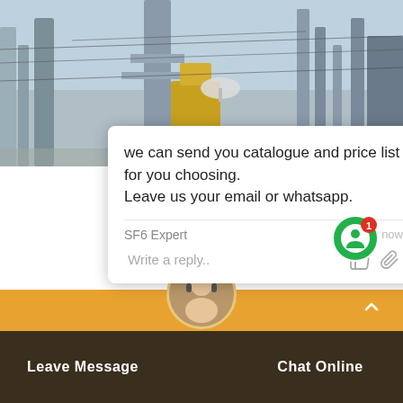[Figure (photo): Electrical power substation or transmission line infrastructure with towers, equipment, and yellow crane visible. 'China' text visible in orange on right side.]
we can send you catalogue and price list for you choosing.
Leave us your email or whatsapp.
SF6 Expert    just now
Write a reply..
capit ... ale
Transmission Line Parameter Test Set, 0-35kv Portable LV Hv Underground ... nd Thumper
provided by China manufacturer – Wuhan Goldhome Hipot Electrical Co., Ltd., page1.
Leave Message
Chat Online